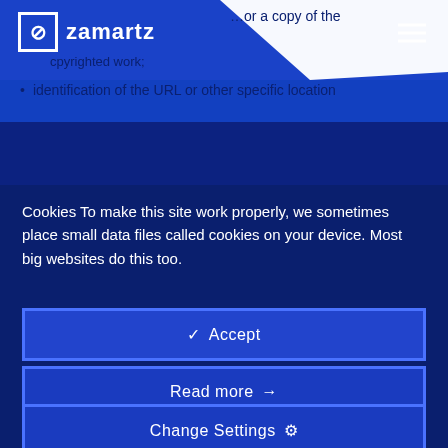zamartz
…or a copy of the copyrighted work;
identification of the URL or other specific location
Cookies To make this site work properly, we sometimes place small data files called cookies on your device. Most big websites do this too.
✓  Accept
Read more →
Change Settings ⚙